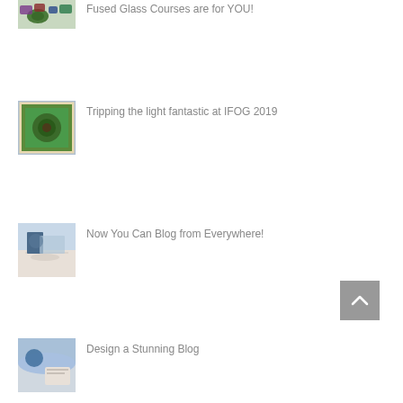[Figure (photo): Partial view of colorful fused glass pieces at top of page]
Fused Glass Courses are for YOU!
[Figure (photo): Aerial view of a fused glass artwork in a white frame, with green circular design]
Tripping the light fantastic at IFOG 2019
[Figure (photo): Person leaning over a table working on a laptop or project]
Now You Can Blog from Everywhere!
[Figure (photo): Scenic view of Santorini with blue dome and whitewashed buildings]
Design a Stunning Blog